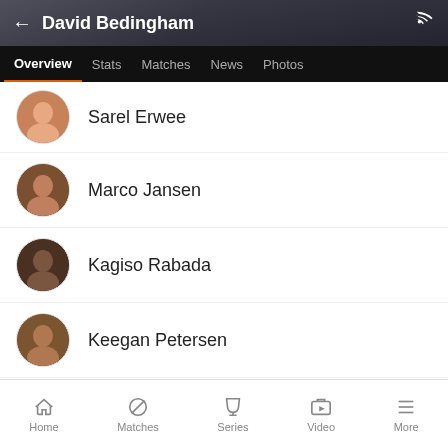David Bedingham
Sarel Erwee
Marco Jansen
Kagiso Rabada
Keegan Petersen
Dean Elgar
Rassie van der Dussen
Home  Matches  Series  Video  More